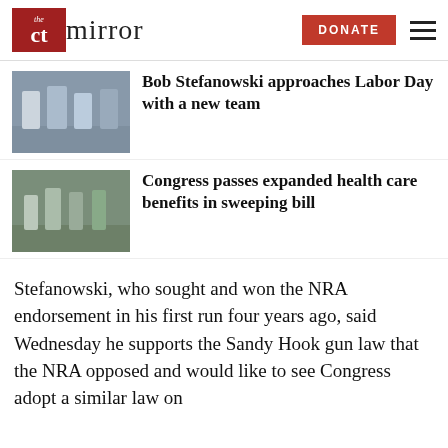the ct mirror — DONATE
Bob Stefanowski approaches Labor Day with a new team
Congress passes expanded health care benefits in sweeping bill
Stefanowski, who sought and won the NRA endorsement in his first run four years ago, said Wednesday he supports the Sandy Hook gun law that the NRA opposed and would like to see Congress adopt a similar law on